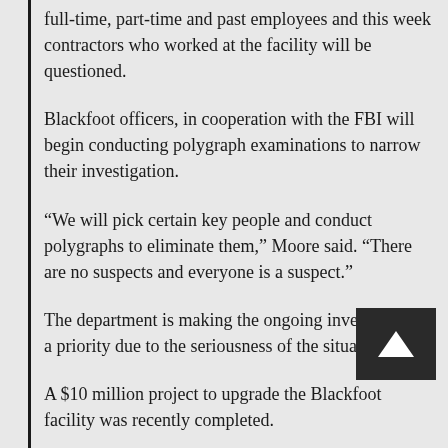full-time, part-time and past employees and this week contractors who worked at the facility will be questioned.
Blackfoot officers, in cooperation with the FBI will begin conducting polygraph examinations to narrow their investigation.
“We will pick certain key people and conduct polygraphs to eliminate them,” Moore said. “There are no suspects and everyone is a suspect.”
The department is making the ongoing investigation a priority due to the seriousness of the situation.
A $10 million project to upgrade the Blackfoot facility was recently completed.
Investigators in the case are working to determine who had